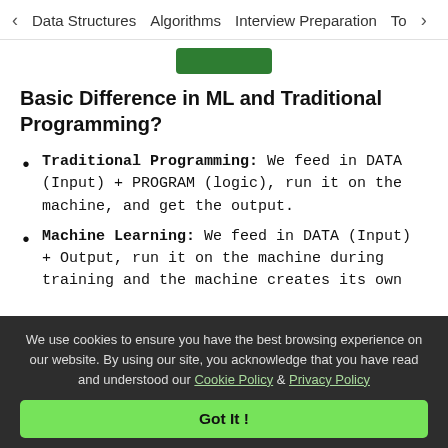< Data Structures   Algorithms   Interview Preparation   To>
[Figure (other): Green button partially visible at top center]
Basic Difference in ML and Traditional Programming?
Traditional Programming: We feed in DATA (Input) + PROGRAM (logic), run it on the machine, and get the output.
Machine Learning: We feed in DATA(Input) + Output, run it on the machine during training and the machine creates its own
We use cookies to ensure you have the best browsing experience on our website. By using our site, you acknowledge that you have read and understood our Cookie Policy & Privacy Policy
Got It !